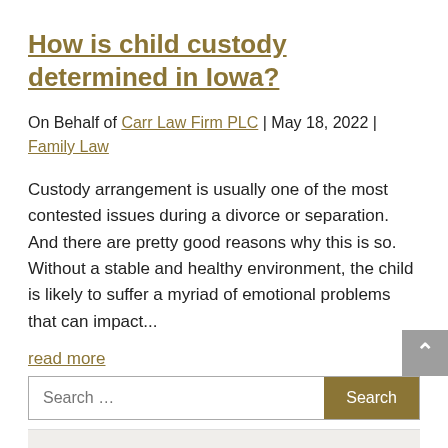How is child custody determined in Iowa?
On Behalf of Carr Law Firm PLC | May 18, 2022 | Family Law
Custody arrangement is usually one of the most contested issues during a divorce or separation. And there are pretty good reasons why this is so. Without a stable and healthy environment, the child is likely to suffer a myriad of emotional problems that can impact...
read more